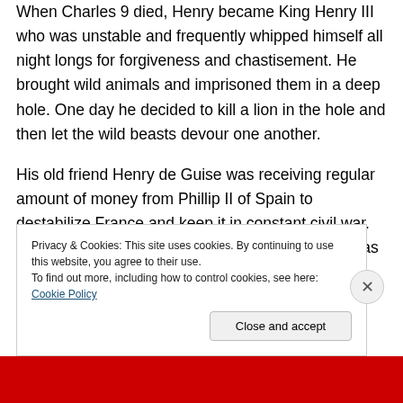When Charles 9 died, Henry became King Henry III who was unstable and frequently whipped himself all night longs for forgiveness and chastisement. He brought wild animals and imprisoned them in a deep hole. One day he decided to kill a lion in the hole and then let the wild beasts devour one another.
His old friend Henry de Guise was receiving regular amount of money from Phillip II of Spain to destabilize France and keep it in constant civil war. And he set his mind to grab the throne since he was the most popular figure in Paris. De Guise was tall, svelte, handsome
Privacy & Cookies: This site uses cookies. By continuing to use this website, you agree to their use.
To find out more, including how to control cookies, see here: Cookie Policy